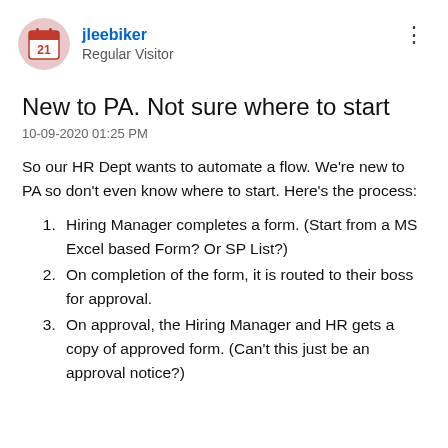[Figure (illustration): Circular avatar image of user jleebiker with a calendar/date motif in pink/red tones]
jleebiker
Regular Visitor
New to PA. Not sure where to start
10-09-2020 01:25 PM
So our HR Dept wants to automate a flow. We're new to PA so don't even know where to start. Here's the process:
Hiring Manager completes a form. (Start from a MS Excel based Form? Or SP List?)
On completion of the form, it is routed to their boss for approval.
On approval, the Hiring Manager and HR gets a copy of approved form. (Can't this just be an approval notice?)